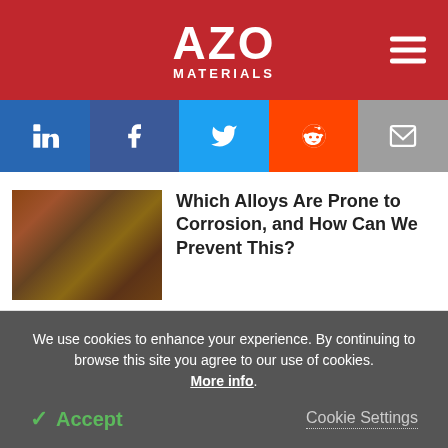AZO MATERIALS
[Figure (logo): AZO Materials logo on red background with hamburger menu icon]
[Figure (infographic): Social media share buttons: LinkedIn, Facebook, Twitter, Reddit, Email]
[Figure (photo): Photo of corroded alloy metal pieces]
Which Alloys Are Prone to Corrosion, and How Can We Prevent This?
[Figure (photo): Photo of irradiated material examination equipment]
An Overview of Post Irradiation Examination (PIE)
We use cookies to enhance your experience. By continuing to browse this site you agree to our use of cookies. More info.
Accept
Cookie Settings